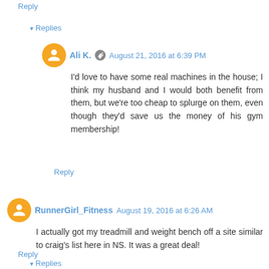Reply
▾ Replies
Ali K.  August 21, 2016 at 6:39 PM
I'd love to have some real machines in the house; I think my husband and I would both benefit from them, but we're too cheap to splurge on them, even though they'd save us the money of his gym membership!
Reply
RunnerGirl_Fitness  August 19, 2016 at 6:26 AM
I actually got my treadmill and weight bench off a site similar to craig's list here in NS. It was a great deal!
Reply
▾ Replies